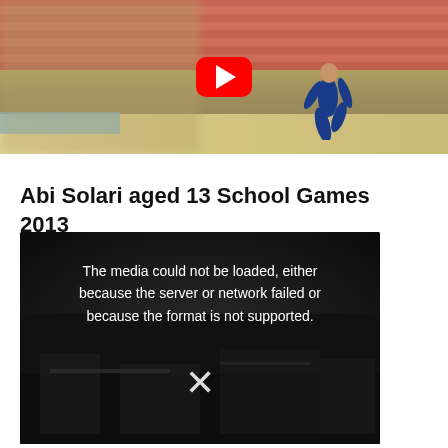[Figure (screenshot): YouTube video thumbnail showing a gymnast in a blue leotard running on a gymnastics floor with bleachers in the background. A red YouTube play button is centered on the image.]
Abi Solari aged 13 School Games 2013
[Figure (screenshot): Video player showing an error message: 'The media could not be loaded, either because the server or network failed or because the format is not supported.' with an X mark and a dark background showing a gymnastics venue.]